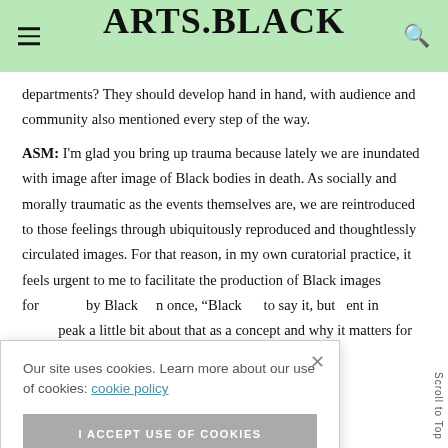ARTS.BLACK
departments? They should develop hand in hand, with audience and community also mentioned every step of the way.
ASM: I'm glad you bring up trauma because lately we are inundated with image after image of Black bodies in death. As socially and morally traumatic as the events themselves are, we are reintroduced to those feelings through ubiquitously reproduced and thoughtlessly circulated images. For that reason, in my own curatorial practice, it feels urgent to me to facilitate the production of Black images for... by Black ... once, "Black ... to say it, but ... ent in ... peak a little bit about that as a concept and why it matters for contemporary
Our site uses cookies. Learn more about our use of cookies: cookie policy
I ACCEPT USE OF COOKIES